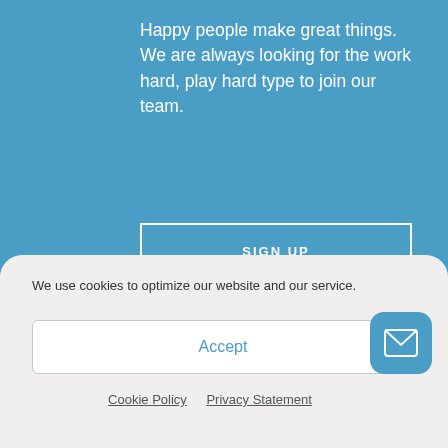Happy people make great things. We are always looking for the work hard, play hard type to join our team.
SIGN UP
Stay up-to-date on digital news and the latest happenings with our newsletter.
We use cookies to optimize our website and our service.
Accept
Cookie Policy   Privacy Statement